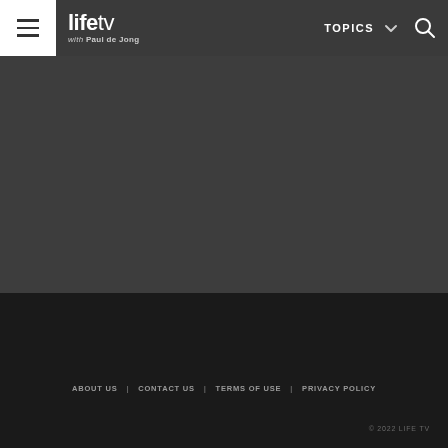life tv with Paul de Jong — TOPICS
[Figure (screenshot): Dark grey empty content area below navigation header]
[Figure (screenshot): Darker black empty content/footer area]
ABOUT US | CONTACT US | TERMS OF USE | PRIVACY POLICY
© 2022 LIFE TV